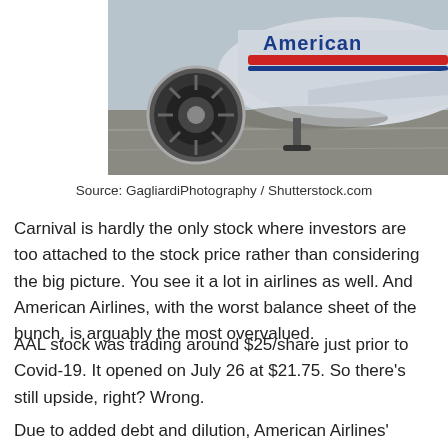[Figure (photo): American Airlines aircraft on tarmac showing engine and fuselage with American Airlines branding]
Source: GagliardiPhotography / Shutterstock.com
Carnival is hardly the only stock where investors are too attached to the stock price rather than considering the big picture. You see it a lot in airlines as well. And American Airlines, with the worst balance sheet of the bunch, is arguably the most overvalued.
AAL stock was trading around $25/share just prior to Covid-19. It opened on July 26 at $21.75. So there’s still upside, right? Wrong.
Due to added debt and dilution, American Airlines’